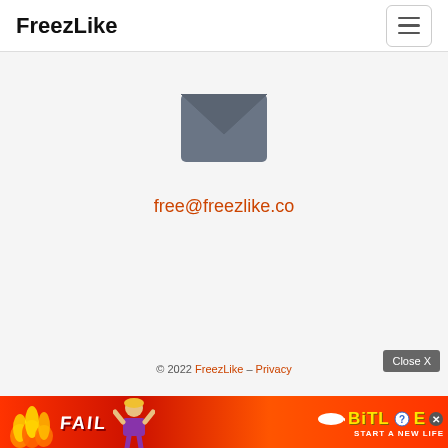FreezLike
[Figure (illustration): Email envelope icon in dark grey/slate color, closed envelope shape with V-flap design]
free@freezlike.co
© 2022 FreezLike – Privacy
[Figure (photo): BitLife advertisement banner with FAIL text, animated character, flames, and START A NEW LIFE tagline on red background]